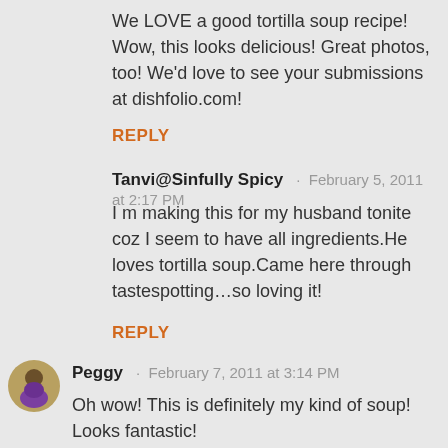We LOVE a good tortilla soup recipe! Wow, this looks delicious! Great photos, too! We'd love to see your submissions at dishfolio.com!
REPLY
Tanvi@Sinfully Spicy · February 5, 2011 at 2:17 PM
I m making this for my husband tonite coz I seem to have all ingredients.He loves tortilla soup.Came here through tastespotting…so loving it!
REPLY
[Figure (photo): Avatar photo of Peggy, a woman with dark hair wearing a purple top]
Peggy · February 7, 2011 at 3:14 PM
Oh wow! This is definitely my kind of soup! Looks fantastic!
REPLY
[Figure (logo): Blogger orange circle logo with white B]
test it comm · February 9, 2011 at 4:13 AM